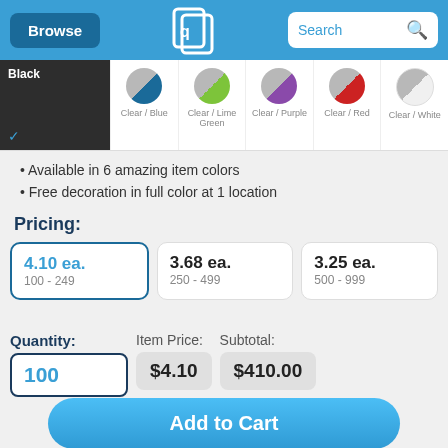Browse | [Logo] | Search
[Figure (screenshot): Color swatch selector showing Black (selected), Clear/Blue, Clear/Lime Green, Clear/Purple, Clear/Red, Clear/White options]
Available in 6 amazing item colors
Free decoration in full color at 1 location
Pricing:
| Price | Quantity Range |
| --- | --- |
| 4.10 ea. | 100 - 249 |
| 3.68 ea. | 250 - 499 |
| 3.25 ea. | 500 - 999 |
Quantity: 100 | Item Price: $4.10 | Subtotal: $410.00
Add to Cart
or Get Your Quote